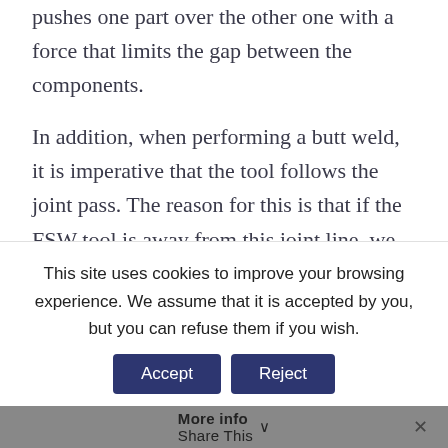pushes one part over the other one with a force that limits the gap between the components.
In addition, when performing a butt weld, it is imperative that the tool follows the joint pass. The reason for this is that if the FSW tool is away from this joint line, we could
This site uses cookies to improve your browsing experience. We assume that it is accepted by you, but you can refuse them if you wish.
More info Share This